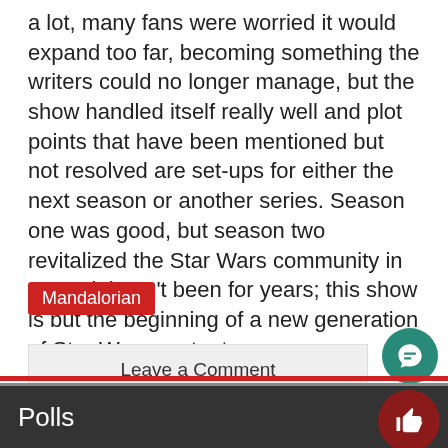a lot, many fans were worried it would expand too far, becoming something the writers could no longer manage, but the show handled itself really well and plot points that have been mentioned but not resolved are set-ups for either the next season or another series. Season one was good, but season two revitalized the Star Wars community in a way it hasn't been for years; this show is but the beginning of a new generation of Star Wars content.
Mandalorian
Leave a Comment
Polls